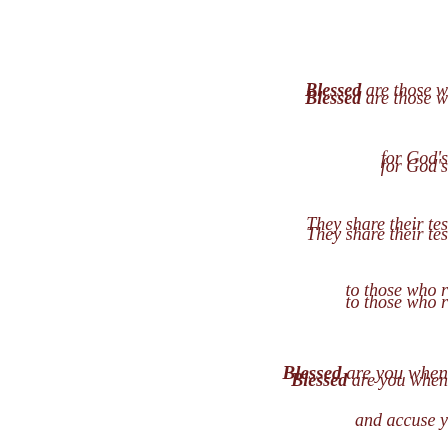Blessed are those w...
for God's...
They share their tes...
to those who r...
Blessed are you when...
and accuse y...
Rejoice in the p...
He loves you m...
Rejoice that heav...
be your r...